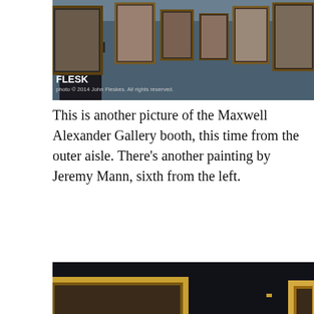[Figure (photo): Photo of the Maxwell Alexander Gallery booth showing framed paintings on dark walls from the outer aisle. FLESK watermark in lower-left corner. Credit: photo © 2014 John Fleskes. All rights reserved.]
This is another picture of the Maxwell Alexander Gallery booth, this time from the outer aisle. There's another painting by Jeremy Mann, sixth from the left.
[Figure (photo): Photo of a man in black jacket viewing framed paintings on dark walls at an art event. Multiple ornate gold frames visible. FLESK watermark in lower-left corner. Credit: photo © 2014 John Fleskes. All rights reserved.]
Look who I found at the event; none other than Mr. Craig